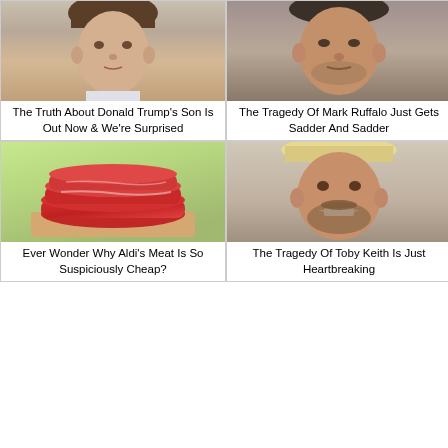[Figure (photo): Young boy face, likely Barron Trump]
The Truth About Donald Trump's Son Is Out Now & We're Surprised
[Figure (photo): Man's face, Mark Ruffalo]
The Tragedy Of Mark Ruffalo Just Gets Sadder And Sadder
[Figure (photo): Stack of raw red meat]
Ever Wonder Why Aldi's Meat Is So Suspiciously Cheap?
[Figure (photo): Man smiling with hat, Toby Keith]
The Tragedy Of Toby Keith Is Just Heartbreaking